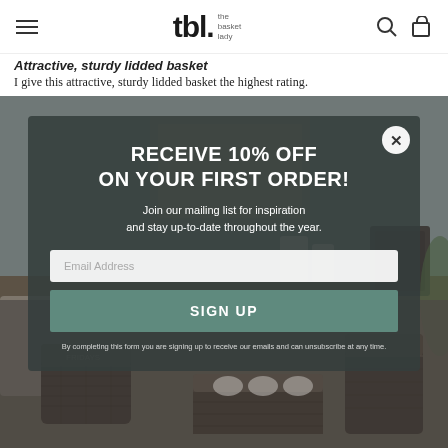tbl. the basket lady — navigation bar with hamburger menu, search, and cart icons
Attractive, sturdy lidded basket
I give this attractive, sturdy lidded basket the highest rating.
[Figure (screenshot): E-commerce website popup modal on The Basket Lady website. Background shows a home interior with baskets on a desk. Modal overlay reads: RECEIVE 10% OFF ON YOUR FIRST ORDER! Join our mailing list for inspiration and stay up-to-date throughout the year. Email Address input field. SIGN UP button. Fine print: By completing this form you are signing up to receive our emails and can unsubscribe at any time. Close button (X) in top right of modal.]
RECEIVE 10% OFF
ON YOUR FIRST ORDER!
Join our mailing list for inspiration and stay up-to-date throughout the year.
SIGN UP
By completing this form you are signing up to receive our emails and can unsubscribe at any time.